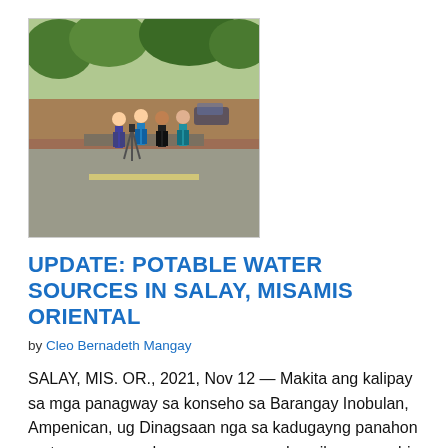[Figure (photo): Outdoor photo showing a group of people standing near a roadside drainage area with trees in the background]
UPDATE: POTABLE WATER SOURCES IN SALAY, MISAMIS ORIENTAL
by Cleo Bernadeth Mangay
SALAY, MIS. OR., 2021, Nov 12 — Makita ang kalipay sa mga panagway sa konseho sa Barangay Inobulan, Ampenican, ug Dinagsaan nga sa kadugayng panahon matuman na gyod ang mga pangandoy nila na panubig para sa mga kabalayan sa ilang tagsa-tagsang barangay. Kini maong...